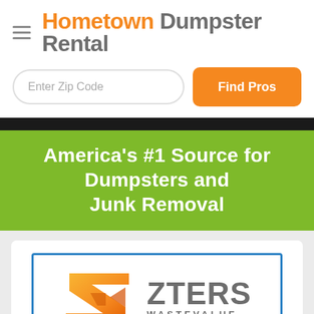Hometown Dumpster Rental
Enter Zip Code
Find Pros
America's #1 Source for Dumpsters and Junk Removal
[Figure (logo): ZTERS Waste Value logo with orange Z-shaped icon and blue border box]